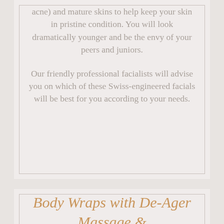acne) and mature skins to help keep your skin in pristine condition. You will look dramatically younger and be the envy of your peers and juniors.
Our friendly professional facialists will advise you on which of these Swiss-engineered facials will be best for you according to your needs.
Body Wraps with De-Ager Massage &